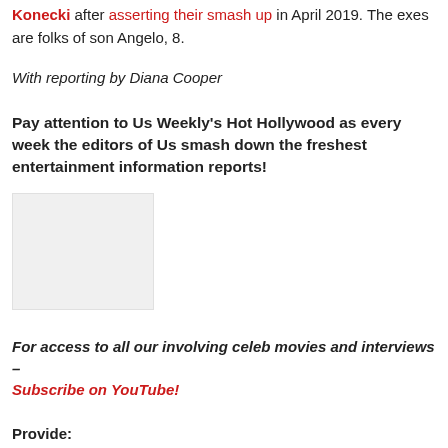Konecki after asserting their smash up in April 2019. The exes are folks of son Angelo, 8.
With reporting by Diana Cooper
Pay attention to Us Weekly's Hot Hollywood as every week the editors of Us smash down the freshest entertainment information reports!
[Figure (photo): Placeholder image, light gray rectangle]
For access to all our involving celeb movies and interviews – Subscribe on YouTube!
Provide:
Plus 1! Adele and BE Rich Paul Looked 'Overjoyed Collectively' at